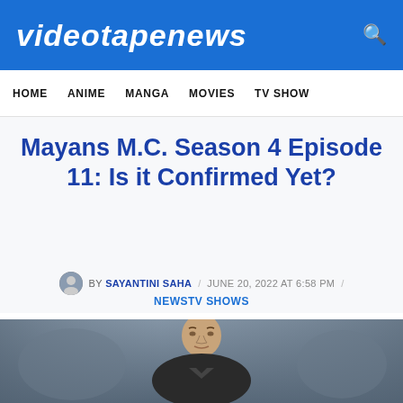VIDEOTAPENEWS
HOME   ANIME   MANGA   MOVIES   TV SHOW
Mayans M.C. Season 4 Episode 11: Is it Confirmed Yet?
BY SAYANTINI SAHA / JUNE 20, 2022 AT 6:58 PM
NEWS TV SHOWS
[Figure (photo): Photo of a person, likely an actor from Mayans M.C., close-up portrait with blurred background]